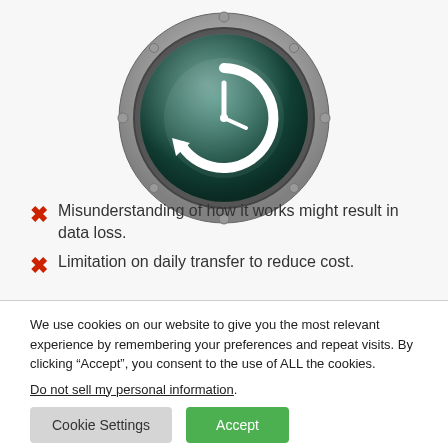[Figure (illustration): macOS Time Machine icon — a metallic circular porthole-style icon with a dark green glassy face showing a white clock with a circular arrow around it, set against a light grey background]
Misunderstanding of how it works might result in data loss.
Limitation on daily transfer to reduce cost.
We use cookies on our website to give you the most relevant experience by remembering your preferences and repeat visits. By clicking “Accept”, you consent to the use of ALL the cookies.
Do not sell my personal information.